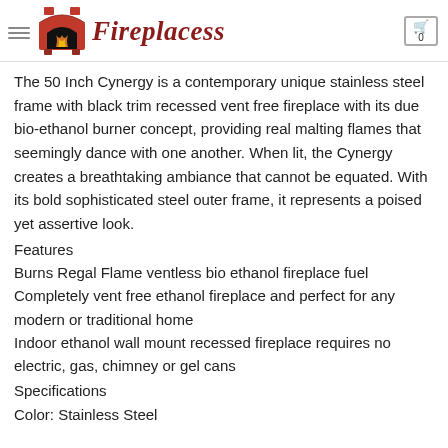Fireplacess
The 50 Inch Cynergy is a contemporary unique stainless steel frame with black trim recessed vent free fireplace with its due bio-ethanol burner concept, providing real malting flames that seemingly dance with one another. When lit, the Cynergy creates a breathtaking ambiance that cannot be equated. With its bold sophisticated steel outer frame, it represents a poised yet assertive look.
Features
Burns Regal Flame ventless bio ethanol fireplace fuel
Completely vent free ethanol fireplace and perfect for any modern or traditional home
Indoor ethanol wall mount recessed fireplace requires no electric, gas, chimney or gel cans
Specifications
Color: Stainless Steel